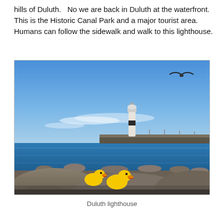hills of Duluth.   No we are back in Duluth at the waterfront. This is the Historic Canal Park and a major tourist area. Humans can follow the sidewalk and walk to this lighthouse.
[Figure (photo): Photograph of the Duluth lighthouse viewed from rocky waterfront. Two yellow rubber ducks sit on foreground rocks. A seagull flies in the upper right. Blue sky with light clouds, calm blue lake water, breakwater pier extending to a white lighthouse in the middle distance.]
Duluth lighthouse